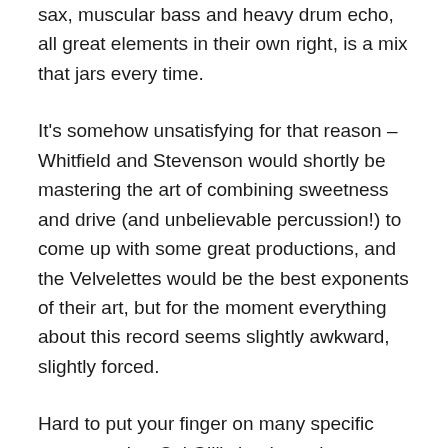sax, muscular bass and heavy drum echo, all great elements in their own right, is a mix that jars every time.
It's somehow unsatisfying for that reason – Whitfield and Stevenson would shortly be mastering the art of combining sweetness and drive (and unbelievable percussion!) to come up with some great productions, and the Velvelettes would be the best exponents of their art, but for the moment everything about this record seems slightly awkward, slightly forced.
Hard to put your finger on many specific moments, but Cal Gill's lead vocal seems to be struggling to compete in places, the lyrics call for a knowing, older narrator (Cal herself admits in the liner notes to The Complete Motown Singles: Volume 4 she didn't really understand what this was meant to be about), the messy lead-in to the chorus just doesn't quite sit right, and the one-chord guitar riff and